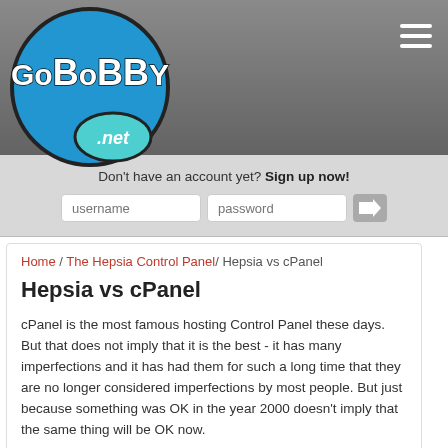[Figure (logo): GoBobby.net logo — blue circle with white 'GoBoBBY' text and a teal '.net' bubble at the bottom]
GoBobby.net — navigation header with hamburger menu
Don't have an account yet? Sign up now!
username / password input fields and login arrow button
Home / The Hepsia Control Panel / Hepsia vs cPanel
Hepsia vs cPanel
cPanel is the most famous hosting Control Panel these days. But that does not imply that it is the best - it has many imperfections and it has had them for such a long time that they are no longer considered imperfections by most people. But just because something was OK in the year 2000 doesn't imply that the same thing will be OK now.
Here are the most essential distinctions between the cPanel